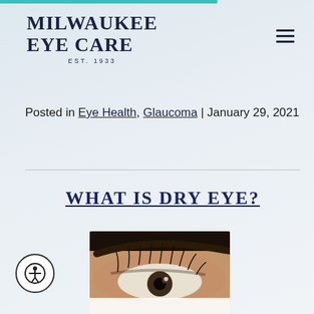MILWAUKEE EYE CARE EST. 1933
Posted in Eye Health, Glaucoma | January 29, 2021
WHAT IS DRY EYE?
[Figure (photo): Close-up photo of a person's eye with long eyelashes and dark eyebrow, partially obscured by white fabric or paper]